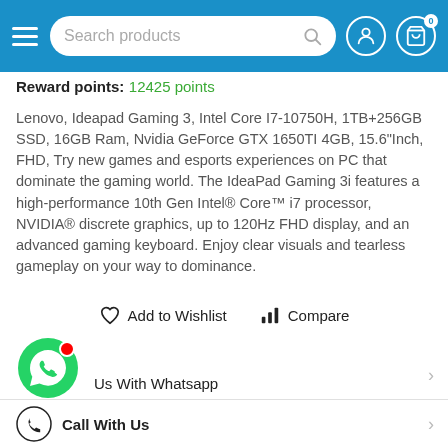[Figure (screenshot): Top navigation bar with hamburger menu, search bar, user icon, and cart icon on blue background]
Reward points: 12425 points
Lenovo, Ideapad Gaming 3, Intel Core I7-10750H, 1TB+256GB SSD, 16GB Ram, Nvidia GeForce GTX 1650TI 4GB, 15.6"Inch, FHD, Try new games and esports experiences on PC that dominate the gaming world. The IdeaPad Gaming 3i features a high-performance 10th Gen Intel® Core™ i7 processor, NVIDIA® discrete graphics, up to 120Hz FHD display, and an advanced gaming keyboard. Enjoy clear visuals and tearless gameplay on your way to dominance.
[Figure (infographic): Add to Wishlist and Compare action buttons]
[Figure (photo): WhatsApp floating button with red notification dot]
Us With Whatsapp
Call With Us